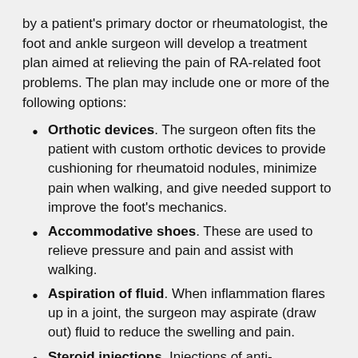by a patient's primary doctor or rheumatologist, the foot and ankle surgeon will develop a treatment plan aimed at relieving the pain of RA-related foot problems. The plan may include one or more of the following options:
Orthotic devices. The surgeon often fits the patient with custom orthotic devices to provide cushioning for rheumatoid nodules, minimize pain when walking, and give needed support to improve the foot's mechanics.
Accommodative shoes. These are used to relieve pressure and pain and assist with walking.
Aspiration of fluid. When inflammation flares up in a joint, the surgeon may aspirate (draw out) fluid to reduce the swelling and pain.
Steroid injections. Injections of anti-inflammatory medication may be applied directly to an inflamed joint or to a rheumatoid nodule.
When is Surgery Needed?